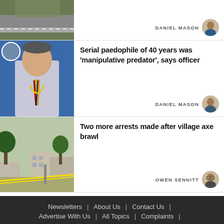[Figure (photo): Partial view of aerial/road photo at top of page]
DANIEL MASON
[Figure (photo): Man in shirt and tie with medal lanyard against blue background]
Serial paedophile of 40 years was 'manipulative predator', says officer
DANIEL MASON
[Figure (photo): Street scene with police tape and trees]
Two more arrests made after village axe brawl
OWEN SENNITT
Newsletters | About Us | Contact Us | Advertise With Us | All Topics | Complaints |